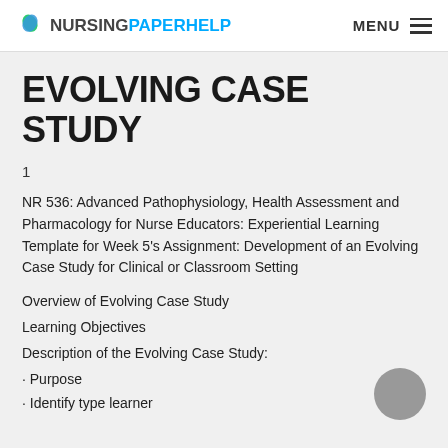NURSINGPAPERHELP | MENU
EVOLVING CASE STUDY
1
NR 536: Advanced Pathophysiology, Health Assessment and Pharmacology for Nurse Educators: Experiential Learning Template for Week 5's Assignment: Development of an Evolving Case Study for Clinical or Classroom Setting
Overview of Evolving Case Study
Learning Objectives
Description of the Evolving Case Study:
· Purpose
· Identify type learner